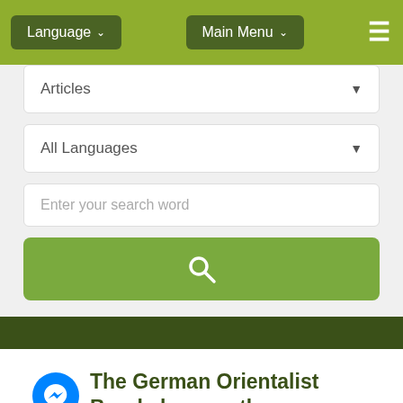Language ▾   Main Menu ▾   ≡
Articles
All Languages
Enter your search word
[Figure (screenshot): Green search button with magnifying glass icon]
[Figure (logo): Facebook Messenger blue circle icon]
The German Orientalist Brockelmann - the Suspicion that Says: the Intensive